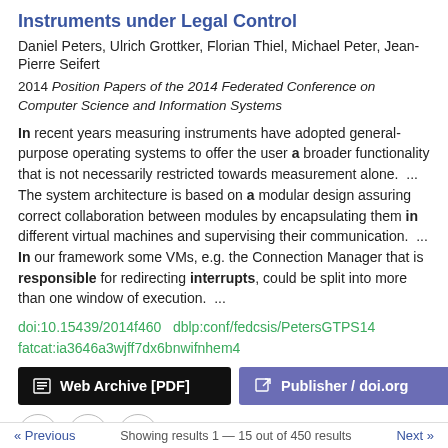Instruments under Legal Control
Daniel Peters, Ulrich Grottker, Florian Thiel, Michael Peter, Jean-Pierre Seifert
2014 Position Papers of the 2014 Federated Conference on Computer Science and Information Systems
In recent years measuring instruments have adopted general-purpose operating systems to offer the user a broader functionality that is not necessarily restricted towards measurement alone.  ...  The system architecture is based on a modular design assuring correct collaboration between modules by encapsulating them in different virtual machines and supervising their communication.  ...  In our framework some VMs, e.g. the Connection Manager that is responsible for redirecting interrupts, could be split into more than one window of execution.  ...
doi:10.15439/2014f460  dblp:conf/fedcsis/PetersGTPS14  fatcat:ia3646a3wjff7dx6bnwifnhem4
Web Archive [PDF]
Publisher / doi.org
« Previous   Showing results 1 — 15 out of 450 results   Next »